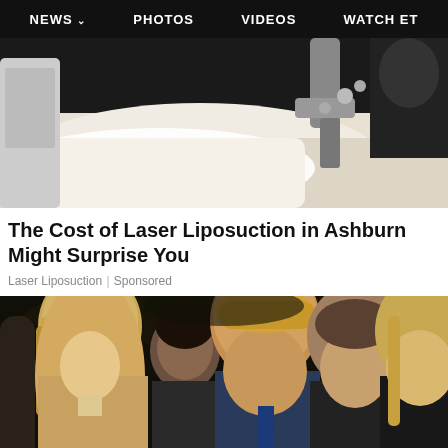NEWS  PHOTOS  VIDEOS  WATCH ET
[Figure (photo): Medical/cosmetic procedure image showing a patient lying on a table with laser liposuction equipment]
The Cost of Laser Liposuction in Ashburn Might Surprise You
Laser Liposuction | Sponsored
[Figure (photo): Group photo of political figures including Donald Trump with family members in formal attire against a dark background]